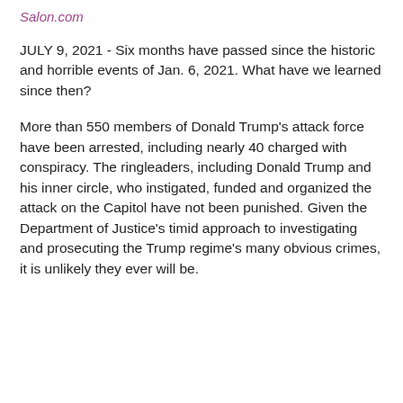Salon.com
JULY 9, 2021 - Six months have passed since the historic and horrible events of Jan. 6, 2021. What have we learned since then?
More than 550 members of Donald Trump's attack force have been arrested, including nearly 40 charged with conspiracy. The ringleaders, including Donald Trump and his inner circle, who instigated, funded and organized the attack on the Capitol have not been punished. Given the Department of Justice's timid approach to investigating and prosecuting the Trump regime's many obvious crimes, it is unlikely they ever will be.